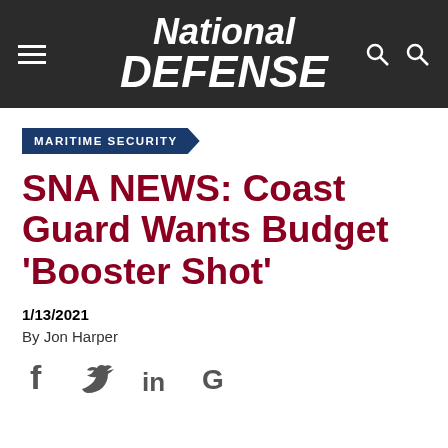National Defense
MARITIME SECURITY
SNA NEWS: Coast Guard Wants Budget 'Booster Shot'
1/13/2021
By Jon Harper